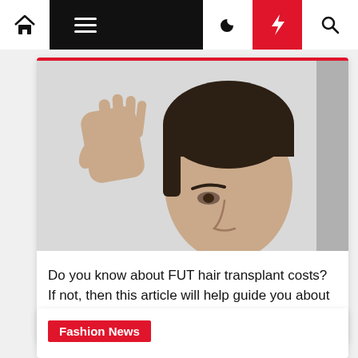Navigation bar with home, menu, moon, bolt, and search icons
[Figure (photo): A man touching his dark hair with his hand, looking downward, against a light grey background. The photo accompanies an article about FUT hair transplant costs.]
Do you know about FUT hair transplant costs? If not, then this article will help guide you about it.
Fashion News